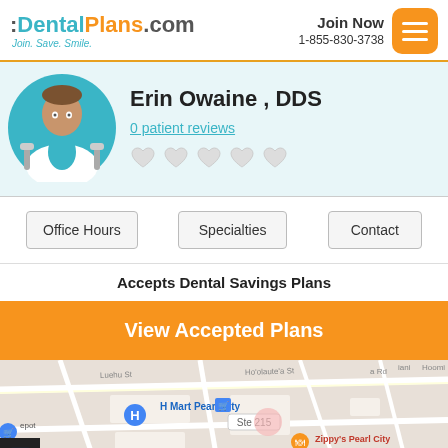:DentalPlans.com Join. Save. Smile. | Join Now 1-855-830-3738
Erin Owaine , DDS
0 patient reviews
Office Hours | Specialties | Contact
Accepts Dental Savings Plans
View Accepted Plans
[Figure (map): Google Maps view of Pearl City area showing H Mart Pearl City, Zippy's Pearl City, Scotty's Alignment & Brake Services, and Ste 215 location marker.]